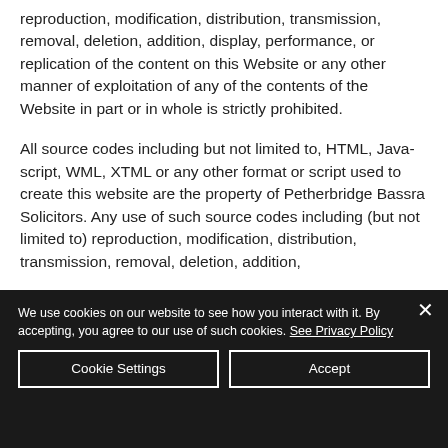reproduction, modification, distribution, transmission, removal, deletion, addition, display, performance, or replication of the content on this Website or any other manner of exploitation of any of the contents of the Website in part or in whole is strictly prohibited.
All source codes including but not limited to, HTML, Java-script, WML, XTML or any other format or script used to create this website are the property of Petherbridge Bassra Solicitors. Any use of such source codes including (but not limited to) reproduction, modification, distribution, transmission, removal, deletion, addition,
We use cookies on our website to see how you interact with it. By accepting, you agree to our use of such cookies. See Privacy Policy